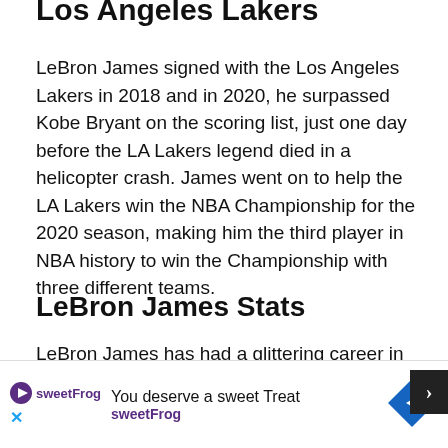Los Angeles Lakers
LeBron James signed with the Los Angeles Lakers in 2018 and in 2020, he surpassed Kobe Bryant on the scoring list, just one day before the LA Lakers legend died in a helicopter crash. James went on to help the LA Lakers win the NBA Championship for the 2020 season, making him the third player in NBA history to win the Championship with three different teams.
LeBron James Stats
LeBron James has had a glittering career in the NBA (and he's not done yet). He has been named to 17 All-NBA teams, an NBA record. He has four MVP awards and...
[Figure (infographic): Advertisement banner for sweetFrog frozen yogurt: 'You deserve a sweet Treat sweetFrog' with logo and diamond-shaped arrow icon]